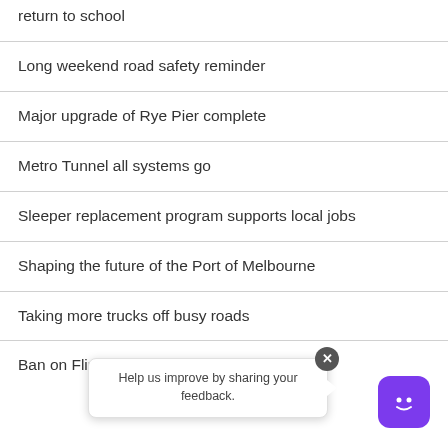return to school
Long weekend road safety reminder
Major upgrade of Rye Pier complete
Metro Tunnel all systems go
Sleeper replacement program supports local jobs
Shaping the future of the Port of Melbourne
Taking more trucks off busy roads
Ban on Flinders Street left turn
Help us improve by sharing your feedback.